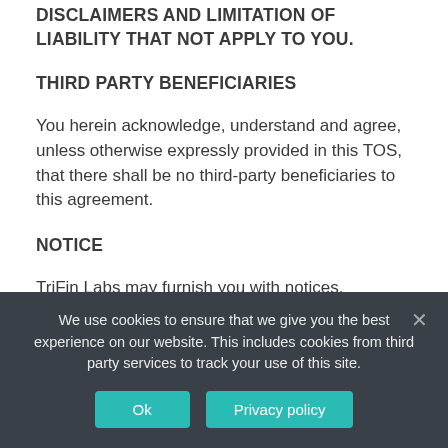DISCLAIMERS AND LIMITATION OF LIABILITY THAT NOT APPLY TO YOU.
THIRD PARTY BENEFICIARIES
You herein acknowledge, understand and agree, unless otherwise expressly provided in this TOS, that there shall be no third-party beneficiaries to this agreement.
NOTICE
TriFin Labs may furnish you with notices, including those with regards to any changes to the TOS, including but not limited to email, regular mail, MMS or SMS, text messaging, postings on our website Services, or other reasonable
We use cookies to ensure that we give you the best experience on our website. This includes cookies from third party services to track your use of this site.